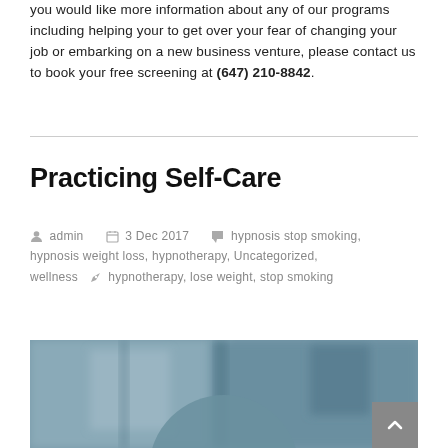you would like more information about any of our programs including helping your to get over your fear of changing your job or embarking on a new business venture, please contact us to book your free screening at (647) 210-8842.
Practicing Self-Care
admin  3 Dec 2017  hypnosis stop smoking, hypnosis weight loss, hypnotherapy, Uncategorized, wellness  hypnotherapy, lose weight, stop smoking
[Figure (photo): Blurred photo background showing a teal/blue-gray abstract scene with a large circular shape in the lower center, used as a featured image for the blog post.]